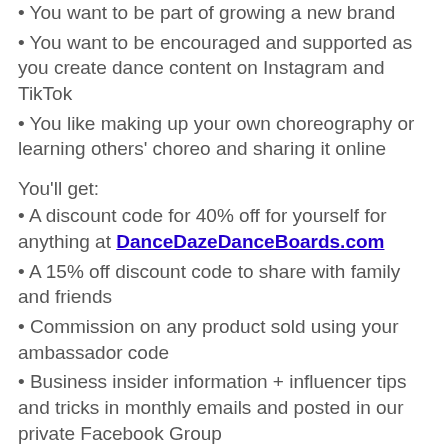• You want to be part of growing a new brand
• You want to be encouraged and supported as you create dance content on Instagram and TikTok
• You like making up your own choreography or learning others' choreo and sharing it online
You'll get:
• A discount code for 40% off for yourself for anything at DanceDazeDanceBoards.com
• A 15% off discount code to share with family and friends
• Commission on any product sold using your ambassador code
• Business insider information + influencer tips and tricks in monthly emails and posted in our private Facebook Group
• Small ambassador-only gifts mailed to you throughout the year!
• …